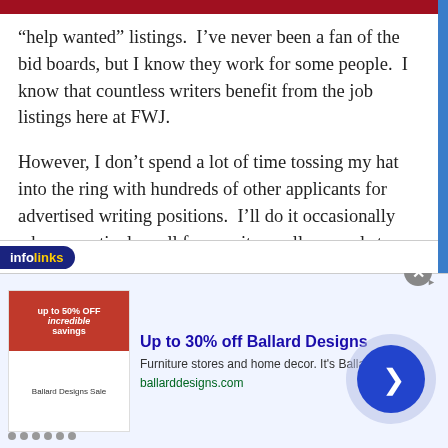“help wanted” listings.  I’ve never been a fan of the bid boards, but I know they work for some people.  I know that countless writers benefit from the job listings here at FWJ.
However, I don’t spend a lot of time tossing my hat into the ring with hundreds of other applicants for advertised writing positions.  I’ll do it occasionally when a particular call for a writer really appeals to me, but it’s not my preferred way of generating business.
[Figure (screenshot): Infolinks advertisement bar with logo and partial text below]
[Figure (screenshot): Advertisement banner for Ballard Designs: 'Up to 30% off Ballard Designs', furniture stores and home decor, ballarddesigns.com, with close button and arrow navigation button]